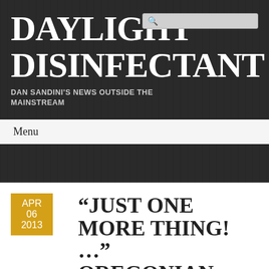DAYLIGHT DISINFECTANT
DAN SANDINI'S NEWS OUTSIDE THE MAINSTREAM
Menu
“JUST ONE MORE THING! …” OREGONIAN JASON SCHMIDT DEFENDS
APR 06 2013